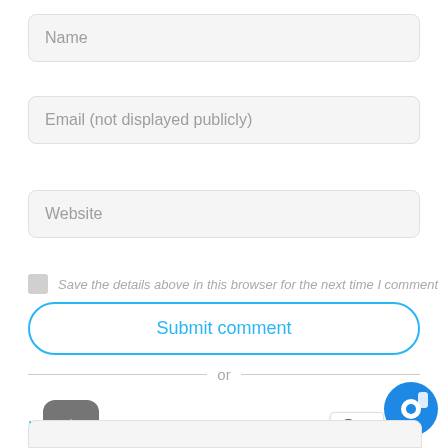Name
Email (not displayed publicly)
Website
Save the details above in this browser for the next time I comment
Submit comment
or
L website
[Figure (screenshot): Upload icon — rounded square dark grey button with upward arrow]
[Figure (screenshot): Chat icon — blue circle with camera/chat symbol]
Terms